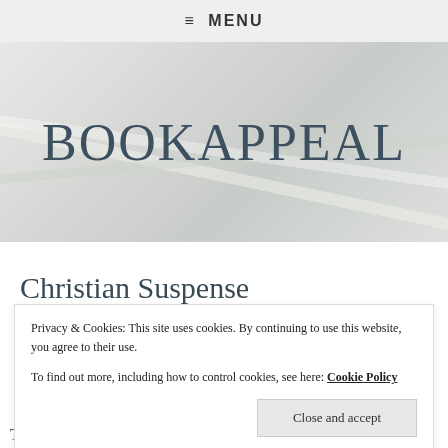≡ MENU
BOOKAPPEAL
Christian Suspense
Privacy & Cookies: This site uses cookies. By continuing to use this website, you agree to their use.
To find out more, including how to control cookies, see here: Cookie Policy
Close and accept
Terri-general and romantic suspense X BRIGBright,